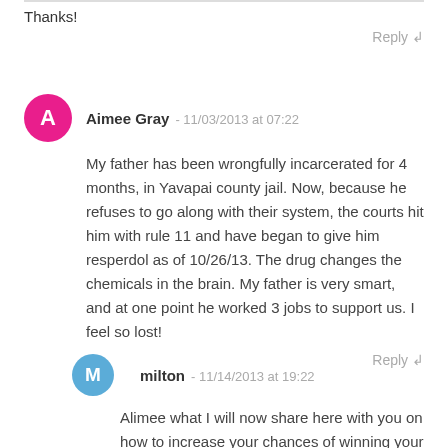Thanks!
Reply ↲
Aimee Gray - 11/03/2013 at 07:22
My father has been wrongfully incarcerated for 4 months, in Yavapai county jail. Now, because he refuses to go along with their system, the courts hit him with rule 11 and have began to give him resperdol as of 10/26/13. The drug changes the chemicals in the brain. My father is very smart, and at one point he worked 3 jobs to support us. I feel so lost!
Reply ↲
milton - 11/14/2013 at 19:22
Alimee what I will now share here with you on how to increase your chances of winning your fight against the system if your cause is